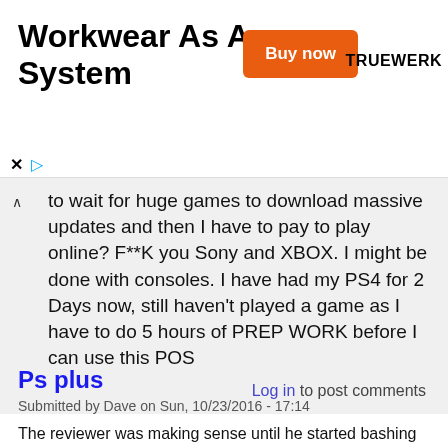[Figure (other): Advertisement banner for Workwear As A System with orange Buy now button and TRUEWERK brand logo]
to wait for huge games to download massive updates and then I have to pay to play online? F**K you Sony and XBOX. I might be done with consoles. I have had my PS4 for 2 Days now, still haven't played a game as I have to do 5 hours of PREP WORK before I can use this POS
Log in to post comments
Ps plus
Submitted by Dave on Sun, 10/23/2016 - 17:14
The reviewer was making sense until he started bashing Xbox live gold memeberships free games. Look at the past 12 months and Xbox live gold membership is